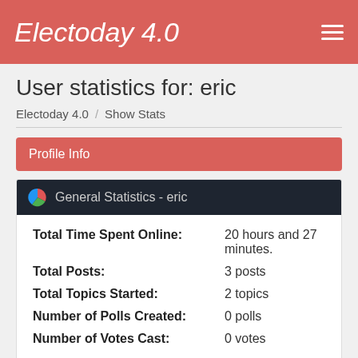Electoday 4.0
User statistics for: eric
Electoday 4.0 / Show Stats
Profile Info
General Statistics - eric
Total Time Spent Online: 20 hours and 27 minutes.
Total Posts: 3 posts
Total Topics Started: 2 topics
Number of Polls Created: 0 polls
Number of Votes Cast: 0 votes
Posting Activity By Time